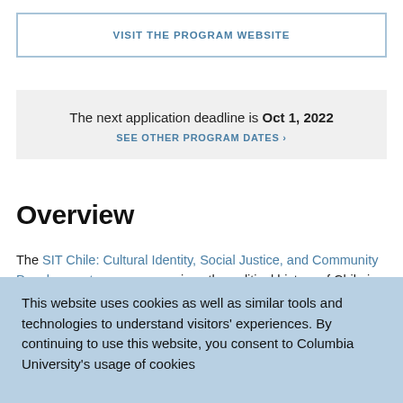VISIT THE PROGRAM WEBSITE
The next application deadline is Oct 1, 2022
SEE OTHER PROGRAM DATES >
Overview
The SIT Chile: Cultural Identity, Social Justice, and Community Development program examines the political history of Chile in a contemporary cultural context. You will learn about Chile's political and social history and how
This website uses cookies as well as similar tools and technologies to understand visitors' experiences. By continuing to use this website, you consent to Columbia University's usage of cookies